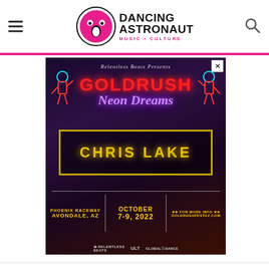[Figure (logo): Dancing Astronaut logo with pink cartoon astronaut circle icon and bold text 'DANCING ASTRONAUT' with subtitle 'MUSIC + CULTURE' in pink]
[Figure (photo): Advertisement for Goldrush Neon Dreams music festival presented by Relentless Beats, featuring Chris Lake as headliner. Phoenix Raceway, Avondale AZ, October 7-9, 2022. goldrushdestaz.com. Dark background with neon purple and yellow text, with animated dancing cowboy characters.]